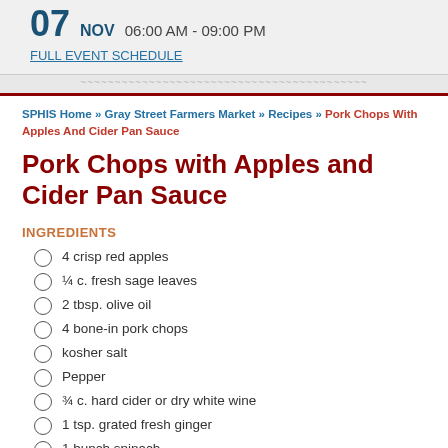07 NOV   06:00 AM - 09:00 PM
FULL EVENT SCHEDULE
SPHIS Home » Gray Street Farmers Market » Recipes » Pork Chops With Apples And Cider Pan Sauce
Pork Chops with Apples and Cider Pan Sauce
INGREDIENTS
4 crisp red apples
¼ c. fresh sage leaves
2 tbsp. olive oil
4 bone-in pork chops
kosher salt
Pepper
¾ c. hard cider or dry white wine
1 tsp. grated fresh ginger
1 bunch spinach